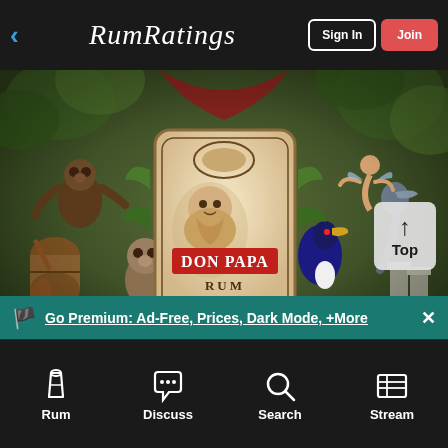RumRatings — Sign In | Join
[Figure (photo): Don Papa Rum bottle label artwork featuring illustrated tropical scene with monkeys, birds, and decorative jungle motifs surrounding a Don Papa Rum bottle label showing a bearded colonial figure]
Go Premium: Ad-Free, Prices, Dark Mode, +More
Rum | Discuss | Search | Stream